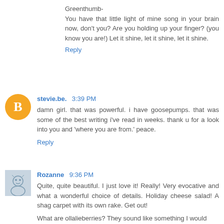Greenthumb-
You have that little light of mine song in your brain now, don't you? Are you holding up your finger? (you know you are!) Let it shine, let it shine, let it shine.
Reply
stevie.be.  3:39 PM
damn girl. that was powerful. i have goosepumps. that was some of the best writing i've read in weeks. thank u for a look into you and 'where you are from.' peace.
Reply
Rozanne  9:36 PM
Quite, quite beautiful. I just love it! Really! Very evocative and what a wonderful choice of details. Holiday cheese salad! A shag carpet with its own rake. Get out!
What are ollalieberries? They sound like something I would